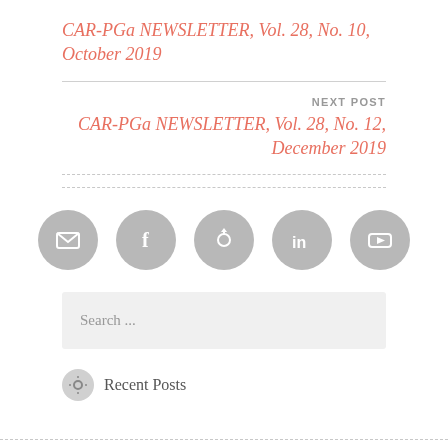CAR-PGa NEWSLETTER, Vol. 28, No. 10, October 2019
NEXT POST
CAR-PGa NEWSLETTER, Vol. 28, No. 12, December 2019
[Figure (infographic): Five social media icon circles (email, Facebook, share/follow, LinkedIn, YouTube) rendered in gray]
Search ...
Recent Posts